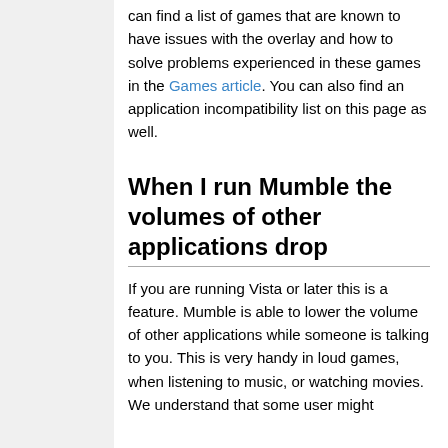can find a list of games that are known to have issues with the overlay and how to solve problems experienced in these games in the Games article. You can also find an application incompatibility list on this page as well.
When I run Mumble the volumes of other applications drop
If you are running Vista or later this is a feature. Mumble is able to lower the volume of other applications while someone is talking to you. This is very handy in loud games, when listening to music, or watching movies. We understand that some user might